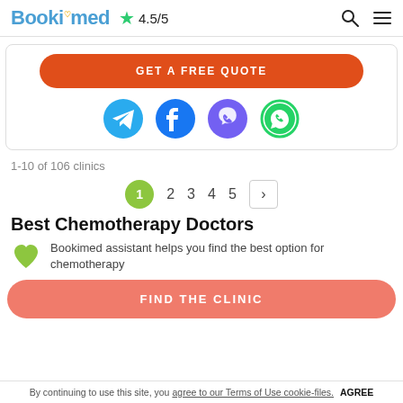Bookimed ★ 4.5/5
GET A FREE QUOTE
[Figure (logo): Row of four social media icons: Telegram (blue circle), Facebook (blue circle), Viber (purple circle), WhatsApp (green circle outline)]
1-10 of 106 clinics
1  2  3  4  5  >
Best Chemotherapy Doctors
Bookimed assistant helps you find the best option for chemotherapy
FIND THE CLINIC
By continuing to use this site, you agree to our Terms of Use cookie-files. AGREE